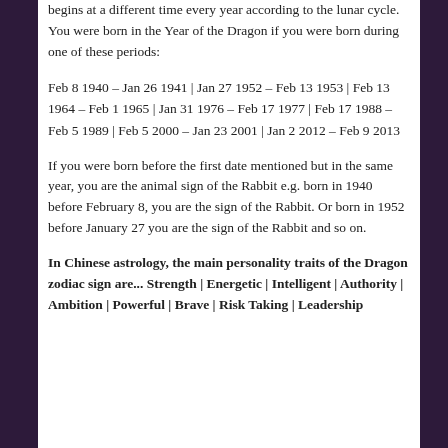begins at a different time every year according to the lunar cycle. You were born in the Year of the Dragon if you were born during one of these periods:
Feb 8 1940 – Jan 26 1941 | Jan 27 1952 – Feb 13 1953 | Feb 13 1964 – Feb 1 1965 | Jan 31 1976 – Feb 17 1977 | Feb 17 1988 – Feb 5 1989 | Feb 5 2000 – Jan 23 2001 | Jan 2 2012 – Feb 9 2013
If you were born before the first date mentioned but in the same year, you are the animal sign of the Rabbit e.g. born in 1940 before February 8, you are the sign of the Rabbit. Or born in 1952 before January 27 you are the sign of the Rabbit and so on.
In Chinese astrology, the main personality traits of the Dragon zodiac sign are... Strength | Energetic | Intelligent | Authority | Ambition | Powerful | Brave | Risk Taking | Leadership